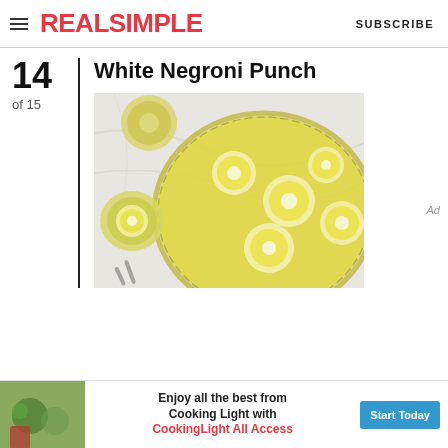REAL SIMPLE   SUBSCRIBE
14
of 15
White Negroni Punch
[Figure (photo): Overhead view of a crystal punch bowl filled with pale yellow liquid and floating lemon slices, on a marble surface with glasses nearby.]
Ad
Enjoy all the best from Cooking Light with CookingLight All Access   Start Today